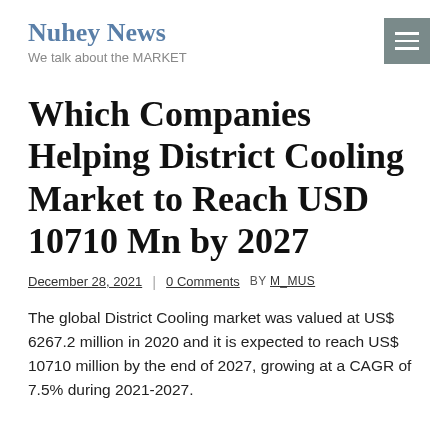Nuhey News
We talk about the MARKET
Which Companies Helping District Cooling Market to Reach USD 10710 Mn by 2027
December 28, 2021 | 0 Comments BY M_Mus
The global District Cooling market was valued at US$ 6267.2 million in 2020 and it is expected to reach US$ 10710 million by the end of 2027, growing at a CAGR of 7.5% during 2021-2027.